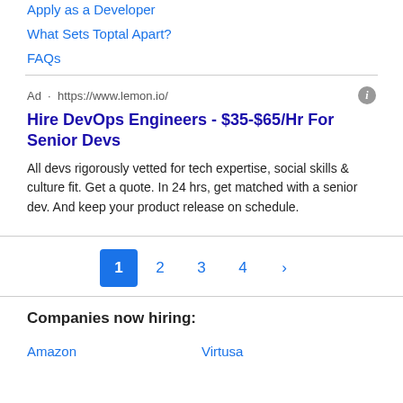Apply as a Developer
What Sets Toptal Apart?
FAQs
Ad · https://www.lemon.io/
Hire DevOps Engineers - $35-$65/Hr For Senior Devs
All devs rigorously vetted for tech expertise, social skills & culture fit. Get a quote. In 24 hrs, get matched with a senior dev. And keep your product release on schedule.
1  2  3  4  >
Companies now hiring:
Amazon
Virtusa